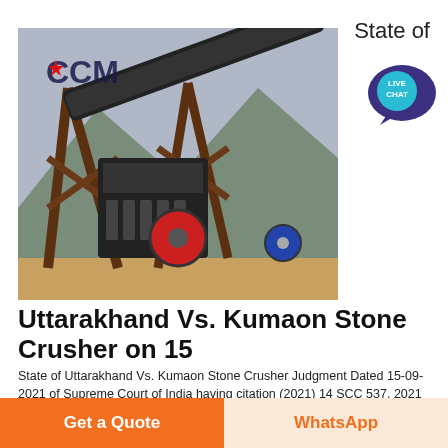State of
[Figure (photo): Industrial stone crusher machine with conveyor belt and metal frame structure, outdoor setting with mountains in background. Logo 'CCM' visible with red star.]
Uttarakhand Vs. Kumaon Stone Crusher on 15
State of Uttarakhand Vs. Kumaon Stone Crusher Judgment Dated 15-09-2021 of Supreme Court of India having citation (2021) 14 SCC 537, 2021 (10) SCJ 39, 2021 (11) SCALE 651, 2021 SC 1423, include bench Judge HON'BLE MR. JUSTICE A.K. SIKRI HON'BLE MR. JUSTICE ASHOK BHUSHAN having
Get a Quote
WhatsApp